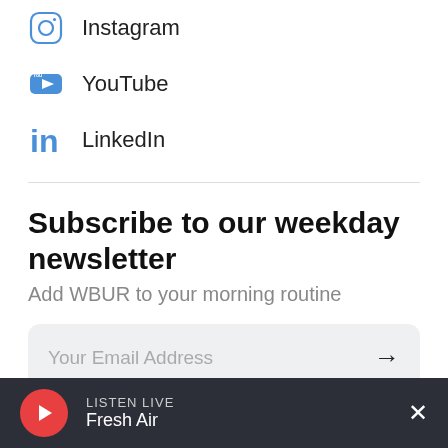Instagram
YouTube
LinkedIn
Subscribe to our weekday newsletter
Add WBUR to your morning routine
Your Email Address
It's Boston local news in one concise, fun and informative
LISTEN LIVE Fresh Air